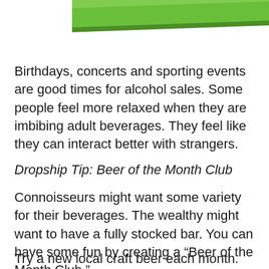[Figure (photo): Partial view of a green product box, cropped at the top of the page]
Birthdays, concerts and sporting events are good times for alcohol sales. Some people feel more relaxed when they are imbibing adult beverages. They feel like they can interact better with strangers.
Dropship Tip: Beer of the Month Club
Connoisseurs might want some variety for their beverages. The wealthy might want to have a fully stocked bar. You can have some fun by creating a “Beer of the Month Club.”
Try a new local craft beer each month. Aussies